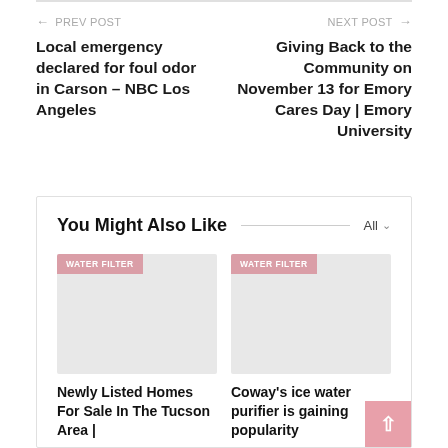← PREV POST
Local emergency declared for foul odor in Carson – NBC Los Angeles
NEXT POST →
Giving Back to the Community on November 13 for Emory Cares Day | Emory University
You Might Also Like
[Figure (photo): Card image placeholder with WATER FILTER badge]
Newly Listed Homes For Sale In The Tucson Area |
[Figure (photo): Card image placeholder with WATER FILTER badge]
Coway's ice water purifier is gaining popularity